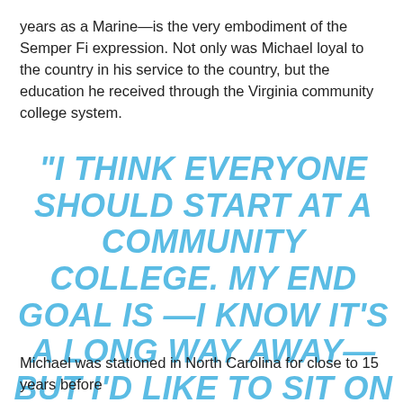years as a Marine—is the very embodiment of the Semper Fi expression. Not only was Michael loyal to the country in his service to the country, but the education he received through the Virginia community college system.
“I THINK EVERYONE SHOULD START AT A COMMUNITY COLLEGE. MY END GOAL IS —I KNOW IT’S A LONG WAY AWAY—BUT I’D LIKE TO SIT ON A BOARD OF NURSING.”
Michael was stationed in North Carolina for close to 15 years before